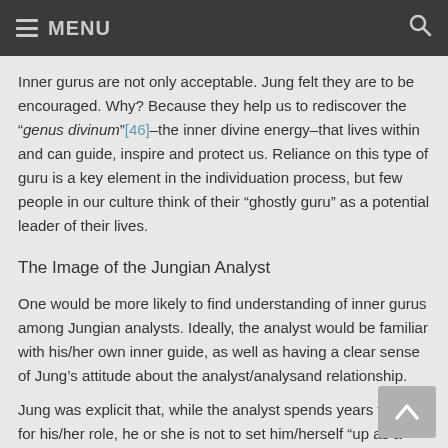MENU
Inner gurus are not only acceptable. Jung felt they are to be encouraged. Why? Because they help us to rediscover the “genus divinum”[46]–the inner divine energy–that lives within and can guide, inspire and protect us. Reliance on this type of guru is a key element in the individuation process, but few people in our culture think of their “ghostly guru” as a potential leader of their lives.
The Image of the Jungian Analyst
One would be more likely to find understanding of inner gurus among Jungian analysts. Ideally, the analyst would be familiar with his/her own inner guide, as well as having a clear sense of Jung’s attitude about the analyst/analysand relationship.
Jung was explicit that, while the analyst spends years training for his/her role, he or she is not to set him/herself “up as a medical